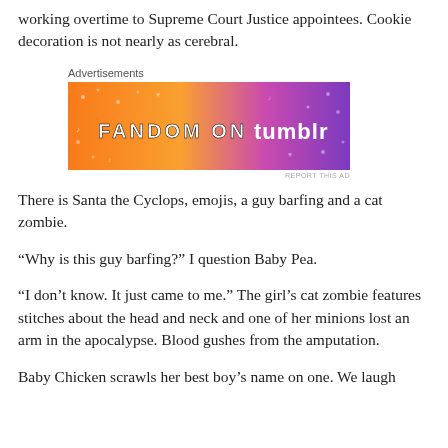working overtime to Supreme Court Justice appointees. Cookie decoration is not nearly as cerebral.
[Figure (other): Fandom on Tumblr advertisement banner with orange-to-purple gradient background and decorative doodles]
There is Santa the Cyclops, emojis, a guy barfing and a cat zombie.
“Why is this guy barfing?” I question Baby Pea.
“I don’t know. It just came to me.” The girl’s cat zombie features stitches about the head and neck and one of her minions lost an arm in the apocalypse. Blood gushes from the amputation.
Baby Chicken scrawls her best boy’s name on one. We laugh